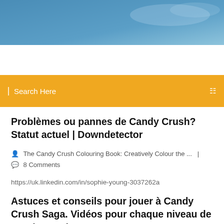[Figure (photo): Blue sky gradient banner header image]
Search Here
Problèmes ou pannes de Candy Crush? Statut actuel | Downdetector
The Candy Crush Colouring Book: Creatively Colour the ... | 8 Comments
https://uk.linkedin.com/in/sophie-young-3037262a
Astuces et conseils pour jouer à Candy Crush Saga. Vidéos pour chaque niveau de Candy Crush. Des